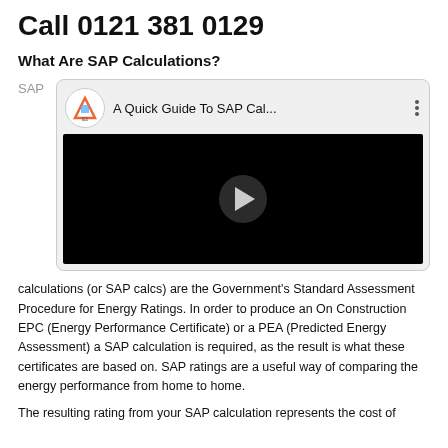Call 0121 381 0129
What Are SAP Calculations?
SAP
[Figure (screenshot): Embedded YouTube video thumbnail showing 'A Quick Guide To SAP Cal...' with E2 Consultants logo, black video screen with play button]
calculations (or SAP calcs) are the Government's Standard Assessment Procedure for Energy Ratings. In order to produce an On Construction EPC (Energy Performance Certificate) or a PEA (Predicted Energy Assessment) a SAP calculation is required, as the result is what these certificates are based on. SAP ratings are a useful way of comparing the energy performance from home to home.
The resulting rating from your SAP calculation represents the cost of